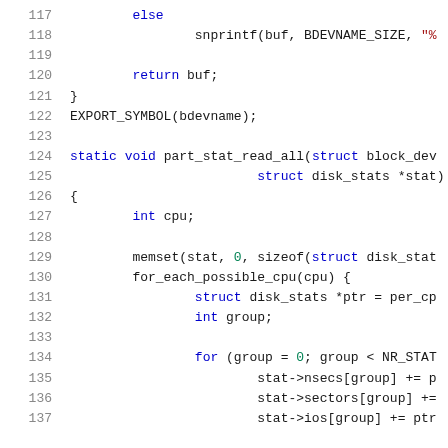[Figure (screenshot): Source code listing showing C code lines 117-137, with syntax highlighting. Line numbers in gray on left, keywords in blue, numeric literals in green, string literals in red. White background with monospace font.]